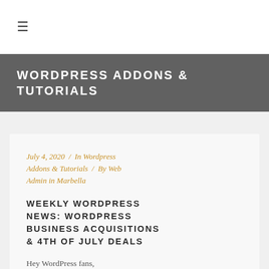☰
WORDPRESS ADDONS & TUTORIALS
July 4, 2020  /  In Wordpress Addons & Tutorials  /  By Web Admin in Marbella
WEEKLY WORDPRESS NEWS: WORDPRESS BUSINESS ACQUISITIONS & 4TH OF JULY DEALS
Hey WordPress fans,